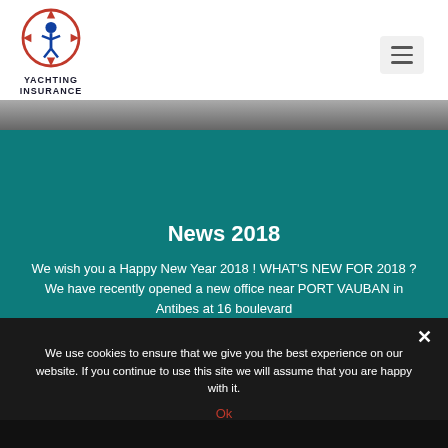[Figure (logo): Yachting Insurance logo: red/blue compass-like circular icon with figure, text reads YACHTING INSURANCE]
We wish you a Happy New Year 2018 ! WHAT'S NEW FOR 2018 ? We have recently opened a new office near PORT VAUBAN in Antibes at 16 boulevard
News 2018
We use cookies to ensure that we give you the best experience on our website. If you continue to use this site we will assume that you are happy with it.
Ok